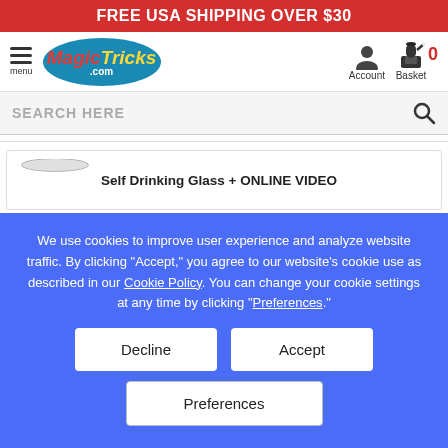FREE USA SHIPPING OVER $30
[Figure (logo): MagicTricks.com logo in blue oval with red 'Magic' and yellow 'Tricks' italic text]
SEARCH HERE
Self Drinking Glass + ONLINE VIDEO
We use cookies to improve user experience and analyze website traffic. By clicking “Accept,” you agree to our website’s cookie use as described in our Cookie Policy. You can change your cookie settings at any time by clicking “Preferences.”
Decline
Accept
Preferences